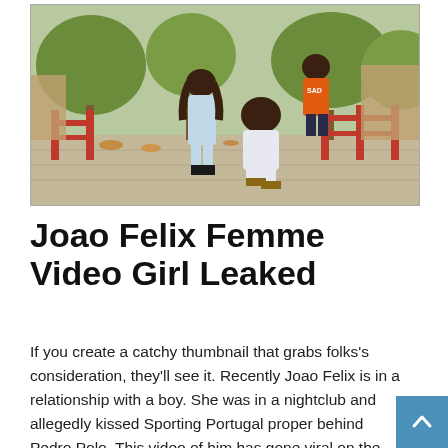[Figure (photo): Outdoor scene with three people on a paved sidewalk near red fence railings and trees with autumn leaves. One person in white outfit is crouching, another in light blue outfit is standing, and a third person in orange shirt is in the background.]
Joao Felix Femme Video Girl Leaked
If you create a catchy thumbnail that grabs folks's consideration, they'll see it. Recently Joao Felix is in a relationship with a boy. She was in a nightclub and allegedly kissed Sporting Portugal proper behind Pedro Polo. This video of him has gone viral on the web and everybody has seen it.